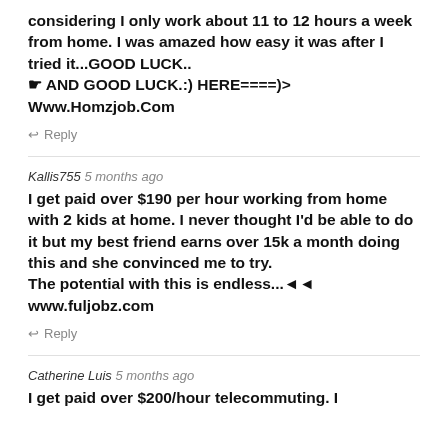considering I only work about 11 to 12 hours a week from home. I was amazed how easy it was after I tried it...GOOD LUCK..
☛ AND GOOD LUCK.:) HERE====)> Www.Homzjob.Com
↩ Reply
Kallis755 5 months ago
I get paid over $190 per hour working from home with 2 kids at home. I never thought I'd be able to do it but my best friend earns over 15k a month doing this and she convinced me to try.
The potential with this is endless...◄◄ www.fuljobz.com
↩ Reply
Catherine Luis 5 months ago
I get paid over $200/hour telecommuting. I